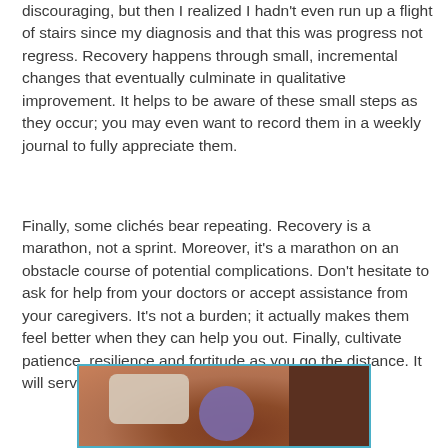discouraging, but then I realized I hadn't even run up a flight of stairs since my diagnosis and that this was progress not regress. Recovery happens through small, incremental changes that eventually culminate in qualitative improvement. It helps to be aware of these small steps as they occur; you may even want to record them in a weekly journal to fully appreciate them.
Finally, some clichés bear repeating. Recovery is a marathon, not a sprint. Moreover, it's a marathon on an obstacle course of potential complications. Don't hesitate to ask for help from your doctors or accept assistance from your caregivers. It's not a burden; it actually makes them feel better when they can help you out. Finally, cultivate patience, resilience and fortitude as you go the distance. It will serve you well.
[Figure (photo): Photograph showing a person in a chair or bed, with a purple/lavender colored object (possibly a head covering or balloon), white pillows, and a brown/reddish wooden background.]